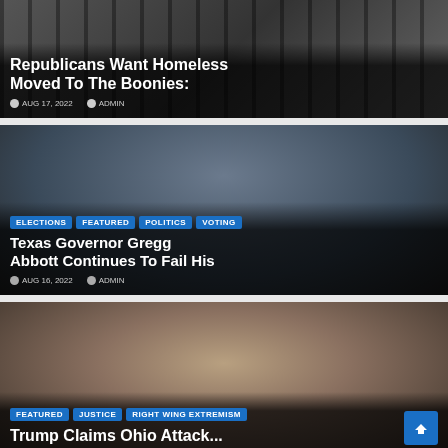[Figure (photo): News article card with dark prison bars background. Title: Republicans Want Homeless Moved To The Boonies:. Date: AUG 17, 2022. Author: ADMIN.]
[Figure (photo): News article card featuring Texas Governor Gregg Abbott. Tags: ELECTIONS, FEATURED, POLITICS, VOTING. Title: Texas Governor Gregg Abbott Continues To Fail His. Date: AUG 16, 2022. Author: ADMIN.]
[Figure (photo): News article card featuring a person (Trump). Tags: FEATURED, JUSTICE, RIGHT WING EXTREMISM. Title partially visible: Trump Claims Ohio Attack...]